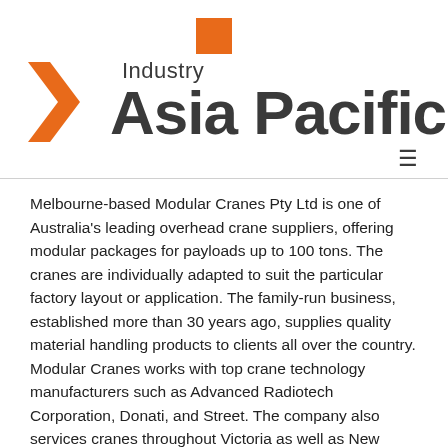[Figure (logo): Industry Asia Pacific logo with orange square accent above text, orange chevron/arrow on left, 'Industry' in medium weight and 'Asia Pacific' in bold dark gray large text]
Melbourne-based Modular Cranes Pty Ltd is one of Australia's leading overhead crane suppliers, offering modular packages for payloads up to 100 tons. The cranes are individually adapted to suit the particular factory layout or application. The family-run business, established more than 30 years ago, supplies quality material handling products to clients all over the country. Modular Cranes works with top crane technology manufacturers such as Advanced Radiotech Corporation, Donati, and Street. The company also services cranes throughout Victoria as well as New South Wales, South Australia, and Tasmania.